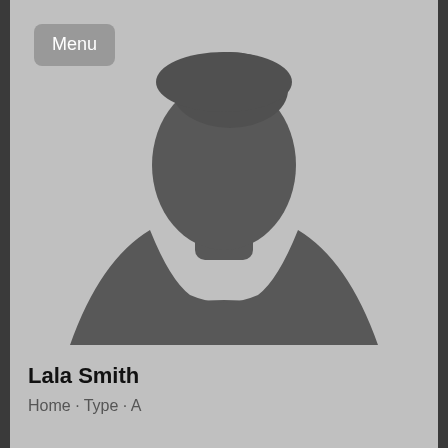[Figure (illustration): Generic silhouette placeholder image of a person (head and shoulders) on a light grey background, with a 'Menu' button overlay in the top-left corner.]
Lala Smith
Home · Type · A...